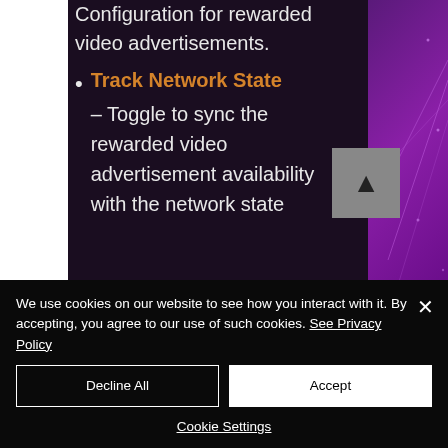Configuration for rewarded video advertisements.
Track Network State – Toggle to sync the rewarded video advertisement availability with the network state
We use cookies on our website to see how you interact with it. By accepting, you agree to our use of such cookies. See Privacy Policy
Decline All
Accept
Cookie Settings